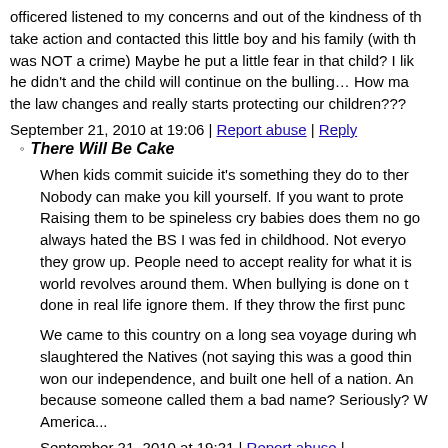officered listened to my concerns and out of the kindness of th take action and contacted this little boy and his family (with th was NOT a crime) Maybe he put a little fear in that child? I lik he didn't and the child will continue on the bulling… How ma the law changes and really starts protecting our children???
September 21, 2010 at 19:06 | Report abuse | Reply
There Will Be Cake
When kids commit suicide it's something they do to ther Nobody can make you kill yourself. If you want to prote Raising them to be spineless cry babies does them no go always hated the BS I was fed in childhood. Not everyo they grow up. People need to accept reality for what it is world revolves around them. When bullying is done on t done in real life ignore them. If they throw the first punc
We came to this country on a long sea voyage during wh slaughtered the Natives (not saying this was a good thin won our independence, and built one hell of a nation. An because someone called them a bad name? Seriously? W America...
September 21, 2010 at 19:21 | Report abuse |
symboybot